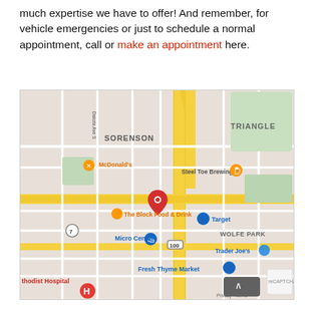much expertise we have to offer! And remember, for vehicle emergencies or just to schedule a normal appointment, call or make an appointment here.
[Figure (map): Google Maps screenshot showing a location pin near Steel Toe Brewing in a neighborhood with landmarks including McDonald's, The Block Food & Drink, Micro Center, Target, Trader Joe's, Fresh Thyme Market, and Methodist Hospital. Neighborhoods labeled: SORENSON, TRIANGLE, WOLFE PARK. Route 7 and Route 100 visible.]